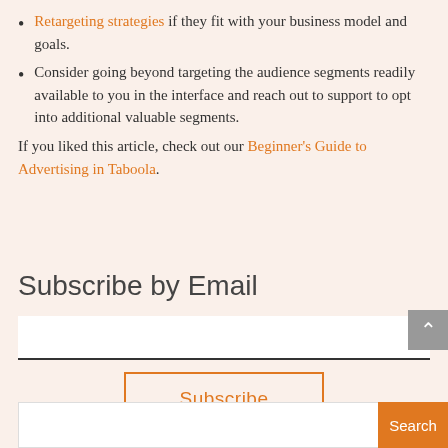Retargeting strategies if they fit with your business model and goals.
Consider going beyond targeting the audience segments readily available to you in the interface and reach out to support to opt into additional valuable segments.
If you liked this article, check out our Beginner's Guide to Advertising in Taboola.
Subscribe by Email
Subscribe button
Search